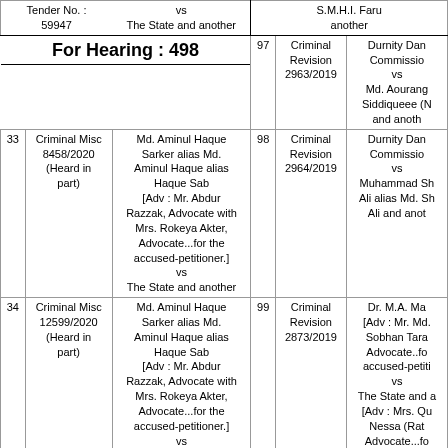|  | Tender No. : 59947 | vs The State and another |  |  | S.M.H.I. Faru... another |
| --- | --- | --- | --- | --- | --- |
|  | For Hearing : 498 |  | 97 | Criminal Revision 2963/2019 | Durnity Dar... Commission... vs Md. Aourang... Siddiqueee (N... and anoth... |
| 33 | Criminal Misc 8458/2020 (Heard in part) | Md. Aminul Haque Sarker alias Md. Aminul Haque alias Haque Sab [Adv : Mr. Abdur Razzak, Advocate with Mrs. Rokeya Akter, Advocate...for the accused-petitioner.] vs The State and another | 98 | Criminal Revision 2964/2019 | Durnity Dar... Commission... vs Muhammad Sh... Ali alias Md. Sh... Ali and anot... |
| 34 | Criminal Misc 12599/2020 (Heard in part) | Md. Aminul Haque Sarker alias Md. Aminul Haque alias Haque Sab [Adv : Mr. Abdur Razzak, Advocate with Mrs. Rokeya Akter, Advocate...for the accused-petitioner.] vs The State and another | 99 | Criminal Revision 2873/2019 | Dr. M.A. Ma... [Adv : Mr. Md. Sobhan Tara... Advocate..fo... accused-petiti... vs The State and a... [Adv : Mrs. Qu... Nessa (Rat... Advocate...fo... A.C.C.] |
|  |  | The State and another [Adv : Mrs. Fowjia... |  | Criminal Revision | Durnity Dar... Commission... |